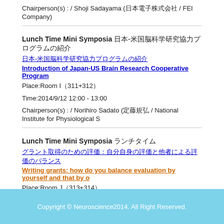Chairperson(s) : / Shoji Sadayama (日本電子株式会社 / FEI Company)
Lunch Time Mini Symposia ランチタイムミニシンポジア
日本-米国脳科学研究協力プログラムの紹介
Introduction of Japan-US Brain Research Cooperative Program
Place:Room I（311+312）
Time:2014/9/12 12:00 - 13:00
Chairperson(s) : / Norihiro Sadato (定藤規弘 / National Institute for Physiological S
Lunch Time Mini Symposia ランチタイム
グラント取得のための評価：自分自身の評価と他者による評価のバランス
Writing grants: how do you balance evaluation by yourself and that by o
Place:Room J（313+314）
Time:2014/9/13 12:00 - 13:00
Chairperson(s) : / Ayaka Sugiura (杉浦彩子 東京大学 / The University of Tokyo) Takuya Isomura (磯村拓哉 東京大学工学部 / The University of Tokyo)
Copyright © Neuroscience2014. All Right Reserved.